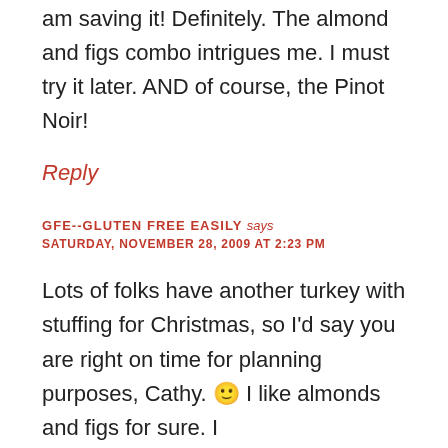am saving it! Definitely. The almond and figs combo intrigues me. I must try it later. AND of course, the Pinot Noir!
Reply
GFE--GLUTEN FREE EASILY says
SATURDAY, NOVEMBER 28, 2009 AT 2:23 PM
Lots of folks have another turkey with stuffing for Christmas, so I'd say you are right on time for planning purposes, Cathy. 🙂 I like almonds and figs for sure. I
just made stuffing out of Tostitos, believe it or not, and everyone loved it. For and